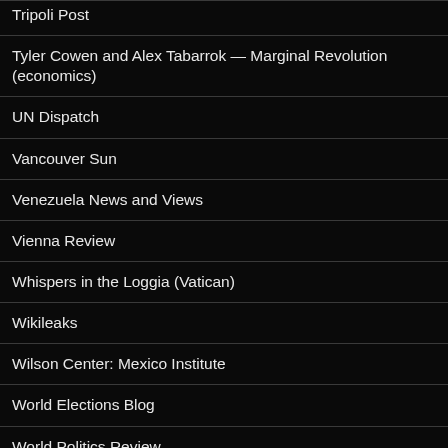Tripoli Post
Tyler Cowen and Alex Tabarrok — Marginal Revolution (economics)
UN Dispatch
Vancouver Sun
Venezuela News and Views
Vienna Review
Whispers in the Loggia (Vatican)
Wikileaks
Wilson Center: Mexico Institute
World Elections Blog
World Politics Review
Wyborcza (Poland)
Xinhua (China)